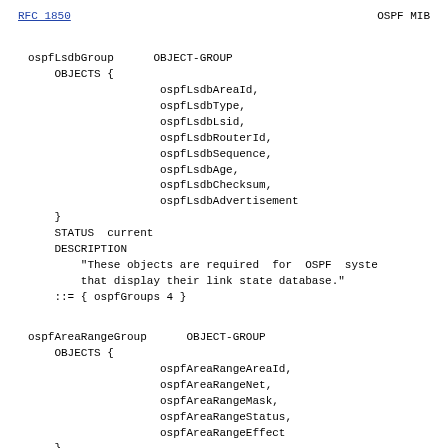RFC 1850                        OSPF MIB
ospfLsdbGroup      OBJECT-GROUP
    OBJECTS {
                    ospfLsdbAreaId,
                    ospfLsdbType,
                    ospfLsdbLsid,
                    ospfLsdbRouterId,
                    ospfLsdbSequence,
                    ospfLsdbAge,
                    ospfLsdbChecksum,
                    ospfLsdbAdvertisement
    }
    STATUS  current
    DESCRIPTION
        "These objects are required  for  OSPF  syste
        that display their link state database."
    ::= { ospfGroups 4 }
ospfAreaRangeGroup      OBJECT-GROUP
    OBJECTS {
                    ospfAreaRangeAreaId,
                    ospfAreaRangeNet,
                    ospfAreaRangeMask,
                    ospfAreaRangeStatus,
                    ospfAreaRangeEffect
    }